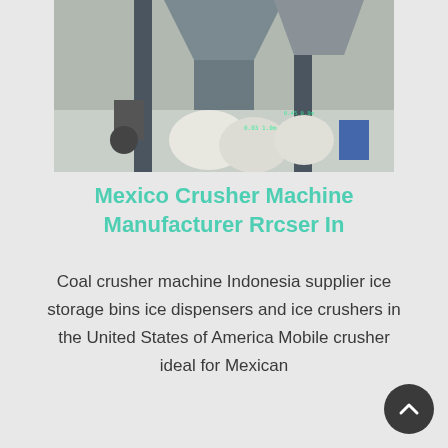[Figure (photo): Industrial crusher machine equipment outdoors in winter/snowy setting, with large metal hopper and mechanical components. Green annotation text overlaid on the image showing measurements.]
Mexico Crusher Machine Manufacturer Rrcser In
Coal crusher machine Indonesia supplier ice storage bins ice dispensers and ice crushers in the United States of America Mobile crusher ideal for Mexican